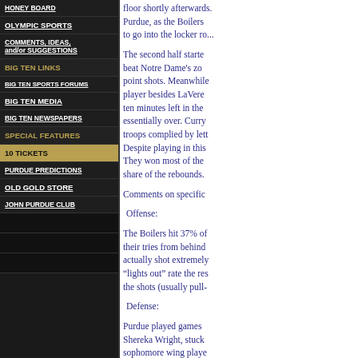HONEY BOARD
OLYMPIC SPORTS
COMMENTS, IDEAS, and/or SUGGESTIONS
BIG TEN LINKS
BIG TEN SPORTS FORUMS
BIG TEN MEDIA
BIG TEN NEWSPAPERS
SPECIAL FEATURES
10 TICKETS
PURDUE PREDICTIONS
OLD GOLD STORE
JOHN PURDUE CLUB
floor shortly afterwards. Purdue, as the Boilers to go into the locker ro...
The second half starte beat Notre Dame's zo point shots. Meanwhile player besides LaVere ten minutes left in the essentially over. Curry troops complied by lett Despite playing in this They won most of the share of the rebounds.
Comments on specific
Offense:
The Boilers hit 37% of their tries from behind actually shot extremely “lights out” rate the res the shots (usually pull-
Defense:
Purdue played games Shereka Wright, stuck sophomore wing playe Another Boiler, usually